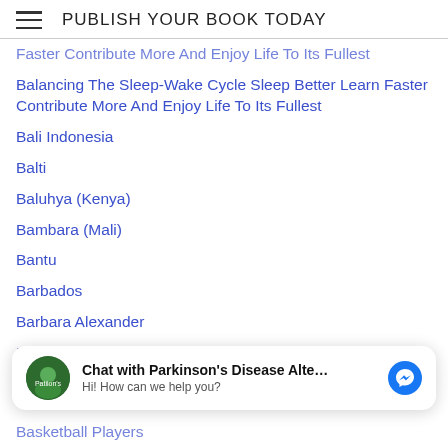PUBLISH YOUR BOOK TODAY
Faster Contribute More And Enjoy Life To Its Fullest
Balancing The Sleep-Wake Cycle Sleep Better Learn Faster Contribute More And Enjoy Life To Its Fullest
Bali Indonesia
Balti
Baluhya (Kenya)
Bambara (Mali)
Bantu
Barbados
Barbara Alexander
Barış (peace)
Bark Teas
Barnet Bain
Barret Hedeen
Basketball Game
Basketball Players